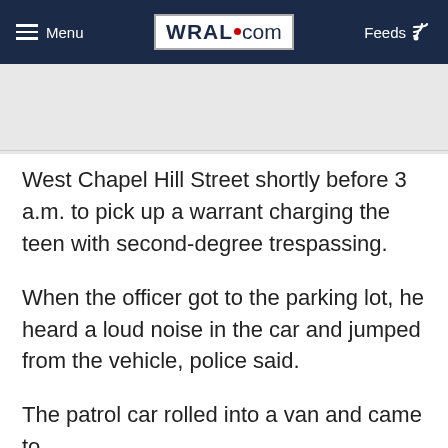Menu | WRAL.com | Feeds
West Chapel Hill Street shortly before 3 a.m. to pick up a warrant charging the teen with second-degree trespassing.
When the officer got to the parking lot, he heard a loud noise in the car and jumped from the vehicle, police said.
The patrol car rolled into a van and came to